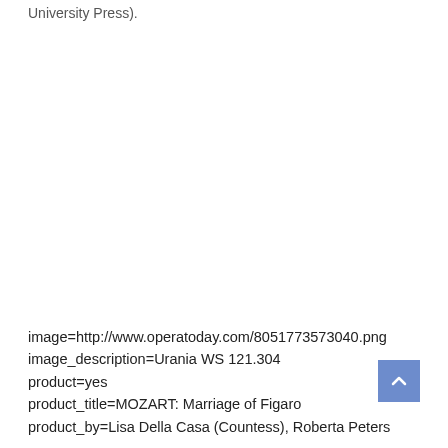University Press).
image=http://www.operatoday.com/8051773573040.png
image_description=Urania WS 121.304
product=yes
product_title=MOZART: Marriage of Figaro
product_by=Lisa Della Casa (Countess), Roberta Peters